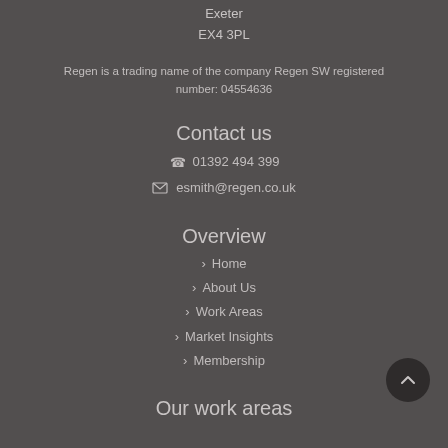Exeter
EX4 3PL
Regen is a trading name of the company Regen SW registered number: 04554636
Contact us
01392 494 399
esmith@regen.co.uk
Overview
Home
About Us
Work Areas
Market Insights
Membership
Our work areas